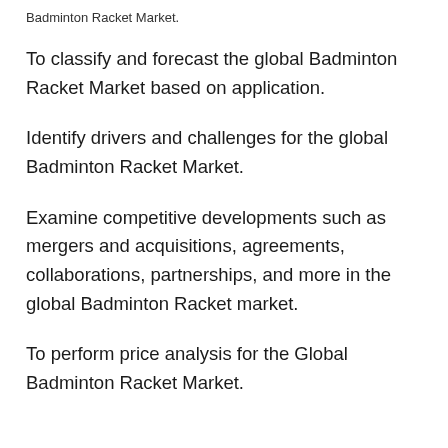Badminton Racket Market.
To classify and forecast the global Badminton Racket Market based on application.
Identify drivers and challenges for the global Badminton Racket Market.
Examine competitive developments such as mergers and acquisitions, agreements, collaborations, partnerships, and more in the global Badminton Racket market.
To perform price analysis for the Global Badminton Racket Market.